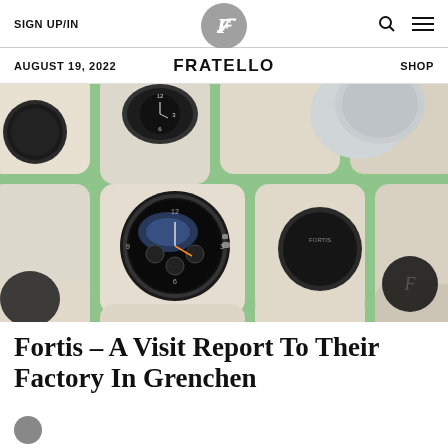SIGN UP/IN | FRATELLO | SHOP
AUGUST 19, 2022 | FRATELLO | SHOP
[Figure (photo): Close-up photo of multiple watches displayed in a green and cream watch tray/case, with one chronograph watch prominently centered]
Fortis – A Visit Report To Their Factory In Grenchen